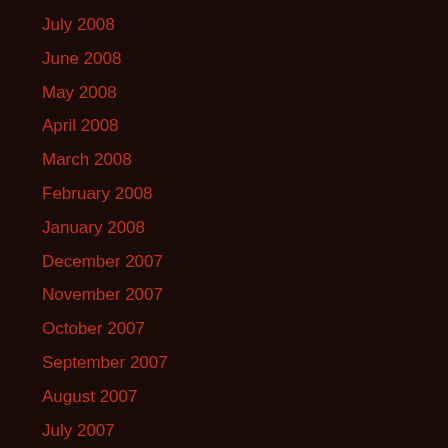July 2008
June 2008
May 2008
April 2008
March 2008
February 2008
January 2008
December 2007
November 2007
October 2007
September 2007
August 2007
July 2007
June 2007
May 2007